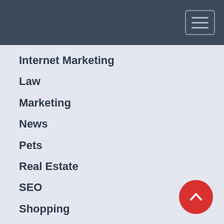Internet Marketing
Law
Marketing
News
Pets
Real Estate
SEO
Shopping
Social Media
Software
Sports